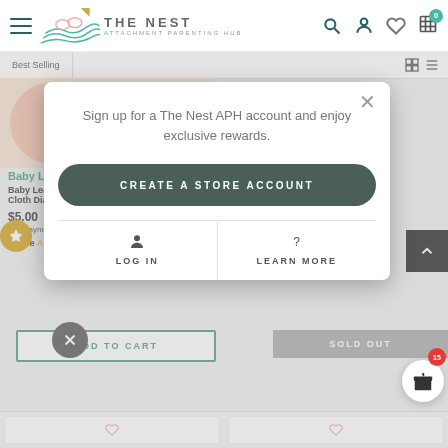[Figure (screenshot): The Nest Attachment Parenting Hub website header with logo, hamburger menu, search, account, wishlist, and cart icons]
Best Selling
Baby Leaf
Baby Leaf La... Cloth Dia...
$5.00
or 3 payment...
atome
Sign up for a The Nest APH account and enjoy exclusive rewards.
CREATE A STORE ACCOUNT
LOG IN
LEARN MORE
ADD TO CART
SOLD OUT
15